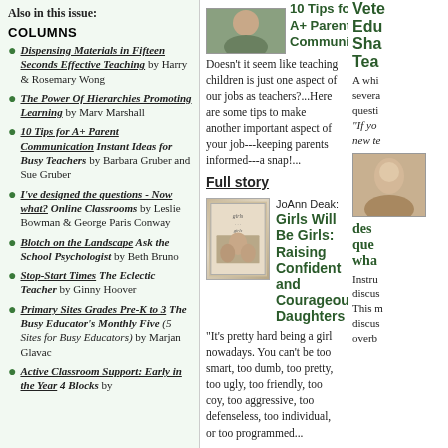Also in this issue:
COLUMNS
Dispensing Materials in Fifteen Seconds Effective Teaching by Harry & Rosemary Wong
The Power Of Hierarchies Promoting Learning by Marv Marshall
10 Tips for A+ Parent Communication Instant Ideas for Busy Teachers by Barbara Gruber and Sue Gruber
I've designed the questions - Now what? Online Classrooms by Leslie Bowman & George Paris Conway
Blotch on the Landscape Ask the School Psychologist by Beth Bruno
Stop-Start Times The Eclectic Teacher by Ginny Hoover
Primary Sites Grades Pre-K to 3 The Busy Educator's Monthly Five (5 Sites for Busy Educators) by Marjan Glavac
Active Classroom Support: Early in the Year 4 Blocks by
[Figure (photo): Small photo of a person at top of middle column]
10 Tips for A+ Parent Communication
Doesn't it seem like teaching children is just one aspect of our jobs as teachers?...Here are some tips to make another important aspect of your job---keeping parents informed---a snap!...
Full story
[Figure (photo): Book cover for Girls Will Be Girls: Raising Confident and Courageous Daughters]
JoAnn Deak: Girls Will Be Girls: Raising Confident and Courageous Daughters
"It's pretty hard being a girl nowadays. You can't be too smart, too dumb, too pretty, too ugly, too friendly, too coy, too aggressive, too defenseless, too individual, or too programmed...
Veteran Educators Share Their...
A white... several... questi... "If yo... new te...
[Figure (photo): Photo of a person in the right column]
des... que... wha...
Instru... discus... This m... discus... overb...